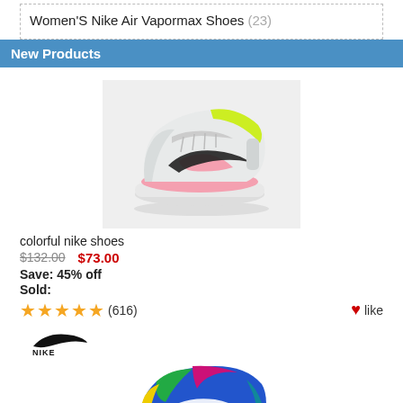Women'S Nike Air Vapormax Shoes (23)
New Products
[Figure (photo): Colorful Nike Air Max 90 shoe in white, pink, and yellow-green on a light gray background]
colorful nike shoes
$132.00  $73.00
Save: 45% off
Sold:
★★★★★ (616)  ♥like
[Figure (logo): Nike swoosh logo]
[Figure (photo): Colorful Nike Air Max shoe in blue, green, yellow, pink colors shown from side angle, partially visible]